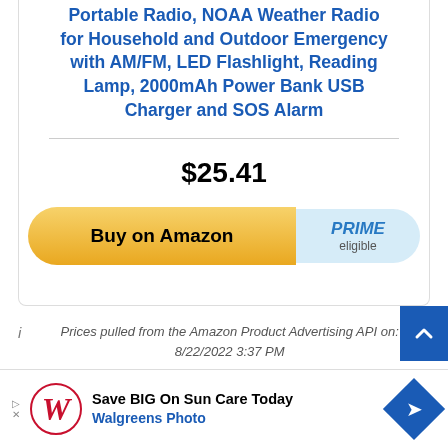Portable Radio, NOAA Weather Radio for Household and Outdoor Emergency with AM/FM, LED Flashlight, Reading Lamp, 2000mAh Power Bank USB Charger and SOS Alarm
$25.41
[Figure (other): Buy on Amazon button (yellow pill-shaped) with PRIME eligible badge (light blue)]
Prices pulled from the Amazon Product Advertising API on: 8/22/2022 3:37 PM
The FosPower emergency radio offers an all-in-one solution for emergency situati...
[Figure (other): Walgreens Photo advertisement banner: Save BIG On Sun Care Today]